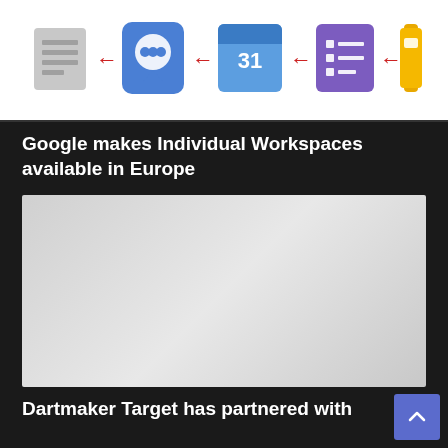[Figure (infographic): A row of Google app icons (Sheets, Google Meet/Contacts, Calendar, Tasks/Keep, Slides/Docs) connected by red leftward arrows, showing a workflow or integration diagram, on a white background.]
Google makes Individual Workspaces available in Europe
[Figure (photo): A large placeholder image with a light gray gradient, representing an article image for the Google Individual Workspaces story.]
Dartmaker Target has partnered with UK youth academi…